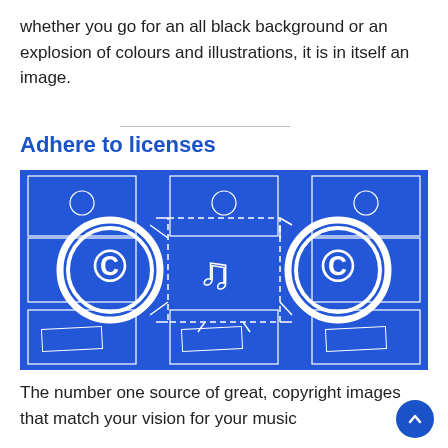whether you go for an all black background or an explosion of colours and illustrations, it is in itself an image.
Adhere to licenses
[Figure (illustration): Blue illustration showing copyright symbols on both sides and a music note icon in a dashed box in the center, depicting license/copyright concept.]
The number one source of great, copyright images that match your vision for your music